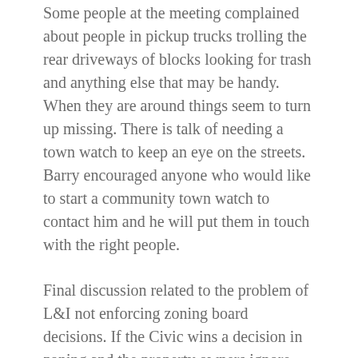Some people at the meeting complained about people in pickup trucks trolling the rear driveways of blocks looking for trash and anything else that may be handy.  When they are around things seem to turn up missing.  There is talk of needing a town watch to keep an eye on the streets.  Barry encouraged anyone who would like to start a community town watch to contact him and he will put them in touch with the right people.
Final discussion related to the problem of L&I not enforcing zoning board decisions.  If the Civic wins a decision in zoning and the property owners ignore that decision, what does it take to get the city to enforce that decision.  The process is long and tedious and meanwhile the property owners goes on without penalty.
The next Northwood Civic Association meeting is scheduled for June 15th.  Seth Williams the District